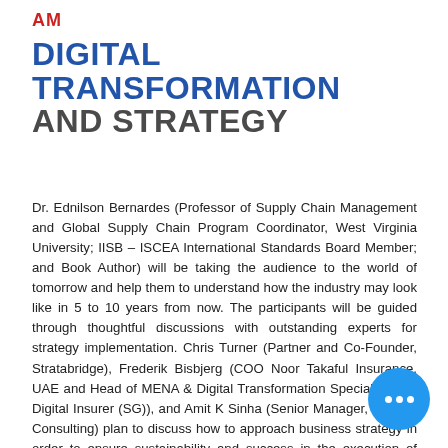AM
DIGITAL TRANSFORMATION AND STRATEGY
Dr. Ednilson Bernardes (Professor of Supply Chain Management and Global Supply Chain Program Coordinator, West Virginia University; IISB – ISCEA International Standards Board Member; and Book Author) will be taking the audience to the world of tomorrow and help them to understand how the industry may look like in 5 to 10 years from now. The participants will be guided through thoughtful discussions with outstanding experts for strategy implementation. Chris Turner (Partner and Co-Founder, Stratabridge), Frederik Bisbjerg (COO Noor Takaful Insurance, UAE and Head of MENA & Digital Transformation Specialist, The Digital Insurer (SG)), and Amit K Sinha (Senior Manager, Deloitte Consulting) plan to discuss how to approach business strategy in order to ensure sustainability and success in the execution of their Supply Chains. They will explain how to accelerate the use of powerful modern technology accordingly. Moving forward, Dr. Bram Desmet (CEO and Managing Director, Solventure, Belgium and